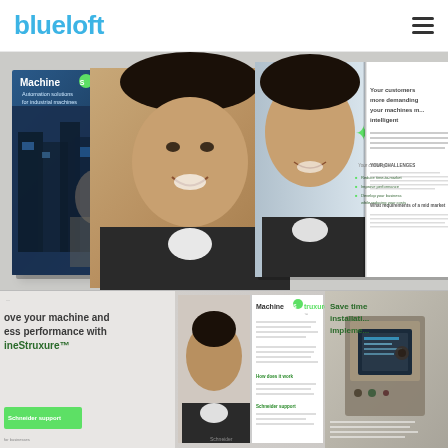[Figure (logo): blueloft company logo in blue text]
[Figure (photo): Top composite image showing two brochures for Machine Struxure by Schneider Electric. Left shows the cover with industrial automation imagery, right shows open brochure with a smiling businessman and green star bullet points about customer challenges. Text visible: Machine Struxure, Automation solutions for industrial machines, Your customers more demanding your machines more intelligent, Your challenges: Reduce time-to-market, Improve performance, Develop your business while reducing your costs. Schneider logo visible.]
[Figure (photo): Bottom composite image showing more open brochures. Left shows partial text: ove your machine and ess performance with ineStruxure. Center shows Machine Struxure brochure open with text and a person. Right shows Save time installation implement text with industrial panel image. Green badge at bottom left: Schneider support.]